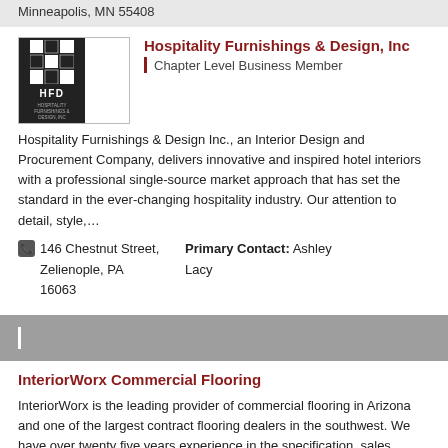Minneapolis, MN 55408
Hospitality Furnishings & Design, Inc
Chapter Level Business Member
Hospitality Furnishings & Design Inc., an Interior Design and Procurement Company, delivers innovative and inspired hotel interiors with a professional single-source market approach that has set the standard in the ever-changing hospitality industry. Our attention to detail, style,…
146 Chestnut Street, Zelienople, PA 16063
Primary Contact: Ashley Lacy
InteriorWorx Commercial Flooring
InteriorWorx is the leading provider of commercial flooring in Arizona and one of the largest contract flooring dealers in the southwest. We have over twenty five years experience in the specification, sales, installation, and maintenance of all types…
2040 W. Rio Salado Parkway
Primary Contact: Amber Dickinson